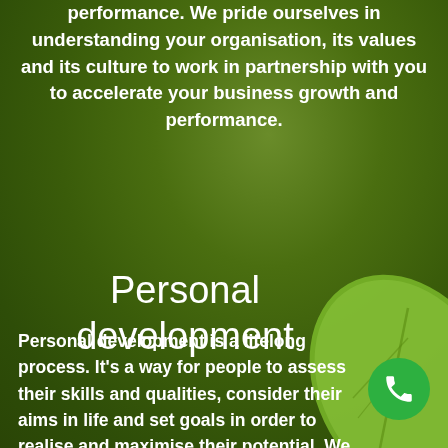performance. We pride ourselves in understanding your organisation, its values and its culture to work in partnership with you to accelerate your business growth and performance.
Personal development
Personal development is a lifelong process. It's a way for people to assess their skills and qualities, consider their aims in life and set goals in order to realise and maximise their potential. We work